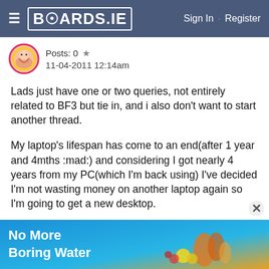BOARDS.IE  Sign In · Register
Posts: 0  ★
11-04-2011 12:14am
Lads just have one or two queries, not entirely related to BF3 but tie in, and i also don't want to start another thread.
My laptop's lifespan has come to an end(after 1 year and 4mths :mad:) and considering I got nearly 4 years from my PC(which I'm back using) I've decided I'm not wasting money on another laptop again so I'm going to get a new desktop.
Does anyone here have any experience using a joypad on the PC?.
[Figure (screenshot): Advertisement banner: 'No More Boring Water' with Nuun branding and product images]